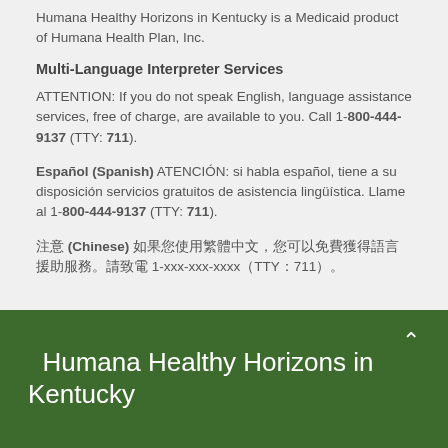Humana Healthy Horizons in Kentucky is a Medicaid product of Humana Health Plan, Inc.
Multi-Language Interpreter Services
ATTENTION: If you do not speak English, language assistance services, free of charge, are available to you. Call 1-800-444-9137 (TTY: 711).
Español (Spanish) ATENCIÓN: si habla español, tiene a su disposición servicios gratuitos de asistencia lingüística. Llame al 1-800-444-9137 (TTY: 711).
注意 (Chinese) 如果您使用繁體中文，您可以免費獲得語言援助服務。請致電 1-xxx-xxx-xxxx（TTY：711）。
Humana Healthy Horizons in Kentucky